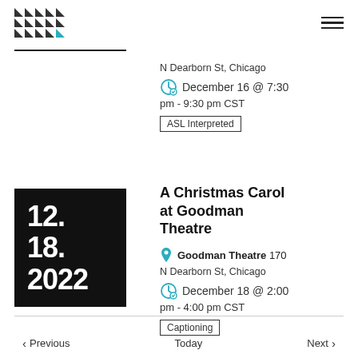[Figure (logo): Grid of black triangles with one teal/cyan triangle in the bottom right, forming the organization logo]
N Dearborn St, Chicago
December 16 @ 7:30 pm - 9:30 pm CST
ASL Interpreted
[Figure (other): Black date box showing 12. 18. 2022 in white bold text]
A Christmas Carol at Goodman Theatre
Goodman Theatre 170 N Dearborn St, Chicago
December 18 @ 2:00 pm - 4:00 pm CST
Captioning
Previous   Today   Next